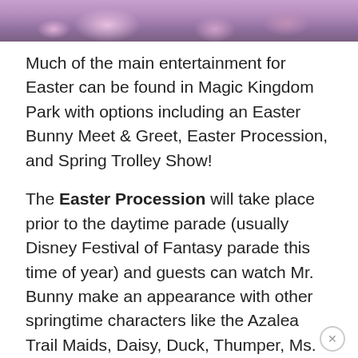[Figure (photo): Top portion of an image showing people in purple Easter-themed costumes with flowers in the background]
Much of the main entertainment for Easter can be found in Magic Kingdom Park with options including an Easter Bunny Meet & Greet, Easter Procession, and Spring Trolley Show!
The Easter Procession will take place prior to the daytime parade (usually Disney Festival of Fantasy parade this time of year) and guests can watch Mr. Bunny make an appearance with other springtime characters like the Azalea Trail Maids, Daisy, Duck, Thumper, Ms. Bunny, White Rabbit, Rabbit, Clara Cluck, Ostriches, Dancing Chicks, and more!